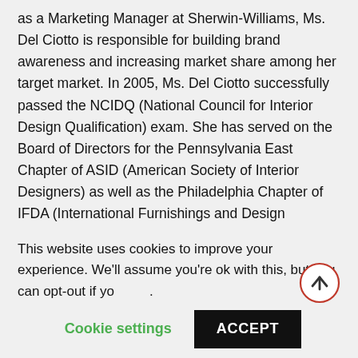as a Marketing Manager at Sherwin-Williams, Ms. Del Ciotto is responsible for building brand awareness and increasing market share among her target market. In 2005, Ms. Del Ciotto successfully passed the NCIDQ (National Council for Interior Design Qualification) exam. She has served on the Board of Directors for the Pennsylvania East Chapter of ASID (American Society of Interior Designers) as well as the Philadelphia Chapter of IFDA (International Furnishings and Design Association). Ms. Del Ciotto has received numerous industry awards, including the highly coveted Presidential Citation Award from ASID.
This website uses cookies to improve your experience. We'll assume you're ok with this, but you can opt-out if you wish.